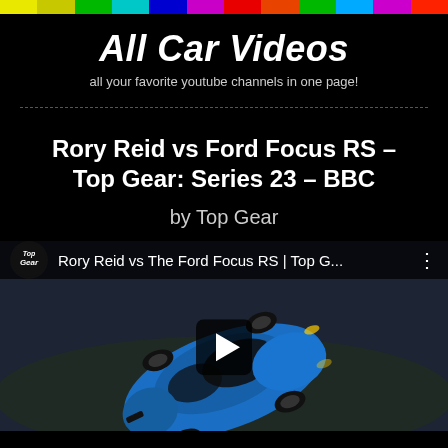[Figure (infographic): Rainbow color bar at top of page]
All Car Videos
all your favorite youtube channels in one page!
Rory Reid vs Ford Focus RS – Top Gear: Series 23 – BBC
by Top Gear
[Figure (screenshot): YouTube video thumbnail showing a blue Ford Focus RS from above, with Top Gear logo and title 'Rory Reid vs The Ford Ford Focus RS | Top G...' and a play button overlay]